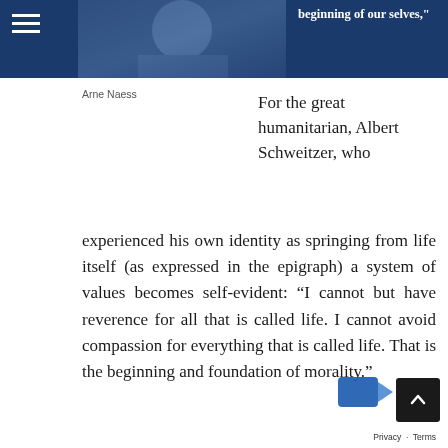beginning of our selves,"
Arne Naess
For the great humanitarian, Albert Schweitzer, who experienced his own identity as springing from life itself (as expressed in the epigraph) a system of values becomes self-evident: “I cannot but have reverence for all that is called life. I cannot avoid compassion for everything that is called life. That is the beginning and foundation of morality.”
Once we recognize that we are life, we are called by the overriding imperative to devote our own little eddy of sentience to the flourishing of all life, of which we are but one tiny part. With a…